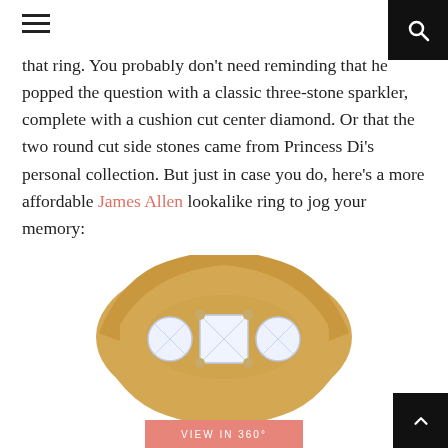[navigation bar with hamburger menu and search icon]
that ring. You probably don't need reminding that he popped the question with a classic three-stone sparkler, complete with a cushion cut center diamond. Or that the two round cut side stones came from Princess Di's personal collection. But just in case you do, here's a more affordable James Allen lookalike ring to jog your memory:
[Figure (photo): A three-stone diamond engagement ring with a cushion cut center diamond and round cut side stones set in yellow gold band, displayed on white background with a salmon/coral 'VIEW IN 360°' button below.]